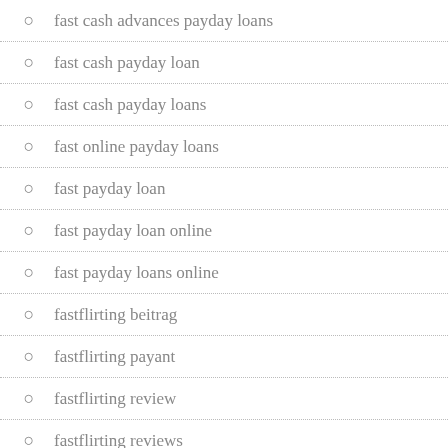fast cash advances payday loans
fast cash payday loan
fast cash payday loans
fast online payday loans
fast payday loan
fast payday loan online
fast payday loans online
fastflirting beitrag
fastflirting payant
fastflirting review
fastflirting reviews
fcn chat funziona